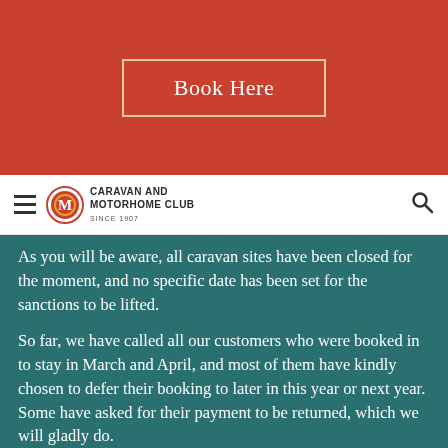[Figure (other): Red banner with a 'Book Here' button with a beige/cream border]
Caravan and Motorhome Club navigation bar with hamburger menu, logo, and search icon
As you will be aware, all caravan sites have been closed for the moment, and no specific date has been set for the sanctions to be lifted.
So far, we have called all our customers who were booked in to stay in March and April, and most of them have kindly chosen to defer their booking to later in this year or next year.  Some have asked for their payment to be returned, which we will gladly do.
As we can see from the news every day, policies keep changing, so although the Caravan Club have chosen to close their own Club Sites until June, we are hoping